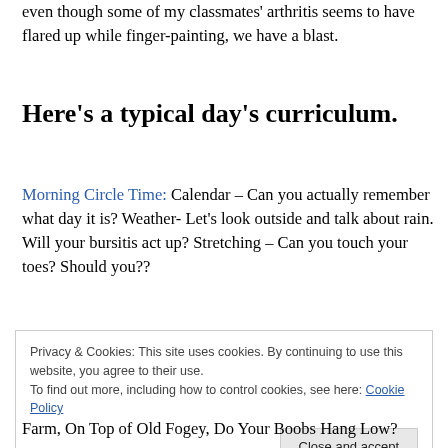even though some of my classmates' arthritis seems to have flared up while finger-painting, we have a blast.
Here's a typical day's curriculum.
Morning Circle Time: Calendar – Can you actually remember what day it is? Weather- Let's look outside and talk about rain. Will your bursitis act up? Stretching – Can you touch your toes? Should you??
Privacy & Cookies: This site uses cookies. By continuing to use this website, you agree to their use.
To find out more, including how to control cookies, see here: Cookie Policy
[Close and accept]
Farm, On Top of Old Fogey, Do Your Boobs Hang Low?